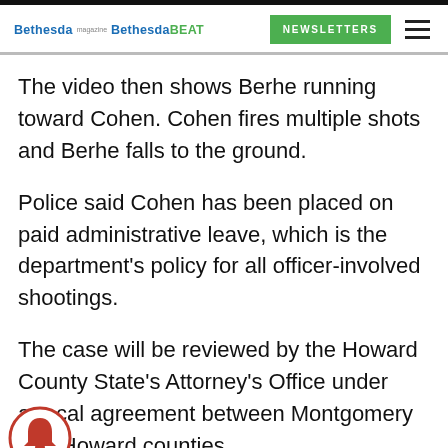Bethesda Magazine | Bethesda BEAT | NEWSLETTERS
The video then shows Berhe running toward Cohen. Cohen fires multiple shots and Berhe falls to the ground.
Police said Cohen has been placed on paid administrative leave, which is the department's policy for all officer-involved shootings.
The case will be reviewed by the Howard County State's Attorney's Office under a reciprocal agreement between Montgomery and Howard counties.